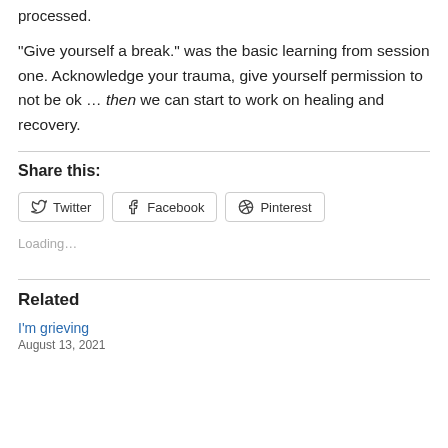processed.
“Give yourself a break.” was the basic learning from session one. Acknowledge your trauma, give yourself permission to not be ok … then we can start to work on healing and recovery.
Share this:
Twitter  Facebook  Pinterest
Loading…
Related
I’m grieving
August 13, 2021